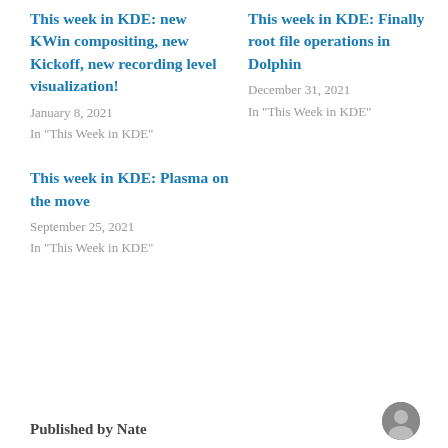This week in KDE: new KWin compositing, new Kickoff, new recording level visualization!
January 8, 2021
In "This Week in KDE"
This week in KDE: Plasma on the move
September 25, 2021
In "This Week in KDE"
This week in KDE: Finally root file operations in Dolphin
December 31, 2021
In "This Week in KDE"
Published by Nate